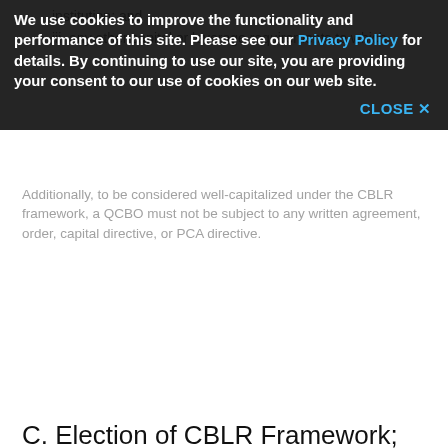institution; and
iii. any other capital or leverage requirements to which
We use cookies to improve the functionality and performance of this site. Please see our Privacy Policy for details. By continuing to use our site, you are providing your consent to our use of cookies on our web site.
CLOSE X
Additionally, to be considered well-capitalized under the CBLR framework, a QCBO must not be subject to any written agreement, order, capital directive, or PCA directive.
C. Election of CBLR Framework; Opt Out of Framework
A QCBO may elect to use the CBLR framework if its CBLR is greater than 9 percent and may start doing so in its Call Report on Form FR Y-9C for the first quarter of 2020 or any quarter thereafter.
A QCBO may opt out of the CBLR framework in any subsequent quarter by completing its Call Report or FR Y-9C reporting the capital ratios required under the